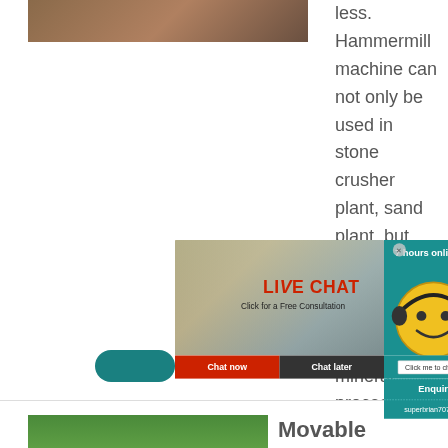[Figure (photo): Photo of industrial/factory workers in yellow hard hats at top left]
less. Hammermill machine can not only be used in stone crusher plant, sand plant, but also can replace the cone crusher in the mineral processing.. Crusher parts: upper body, grate plate, middle, discharging stand
[Figure (photo): Live Chat popup overlay showing workers in yellow hard hats, LIVE CHAT text, Click for a Free Consultation, Chat now and Chat later buttons, smiley face with headset, hours online indicator, Enquiry section, and email address]
[Figure (photo): Aerial photo of movable hammer crusher equipment at a mining or quarry site]
Movable Hamm... Factory, Manuf... Supplier ...
Hammer crusher: The...